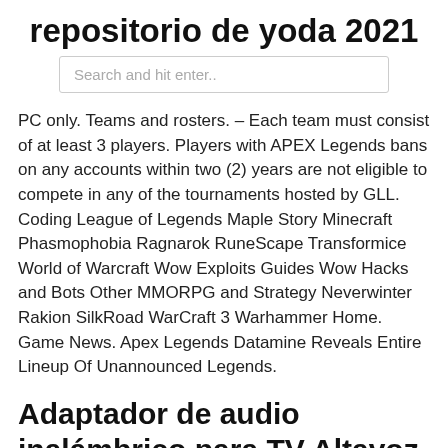repositorio de yoda 2021
Search and hit enter..
PC only. Teams and rosters. – Each team must consist of at least 3 players. Players with APEX Legends bans on any accounts within two (2) years are not eligible to compete in any of the tournaments hosted by GLL. Coding League of Legends Maple Story Minecraft Phasmophobia Ragnarok RuneScape Transformice World of Warcraft Wow Exploits Guides Wow Hacks and Bots Other MMORPG and Strategy Neverwinter Rakion SilkRoad WarCraft 3 Warhammer Home. Game News. Apex Legends Datamine Reveals Entire Lineup Of Unannounced Legends.
Adaptador de audio inalámbrico para TV Altavoz Coche .
Show 'em what you're made of in Apex Legends, a free-to-play Battle Royale game where contenders from across the Frontier team up to battle for glory, fame  Explore a growing roster of powerful Legends, each with their own unique